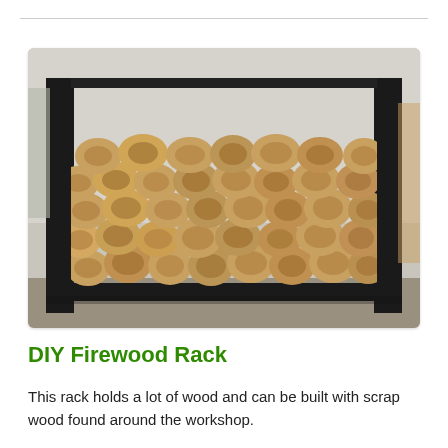[Figure (photo): A firewood rack made from black metal or painted wood, filled with stacked split firewood logs showing cross-sections, stored indoors against a light gray wall.]
DIY Firewood Rack
This rack holds a lot of wood and can be built with scrap wood found around the workshop.